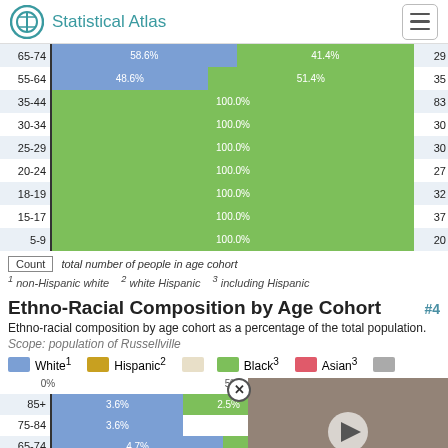Statistical Atlas
[Figure (stacked-bar-chart): Racial composition by age cohort (top portion)]
Count — total number of people in age cohort
1 non-Hispanic white   2 white Hispanic   3 including Hispanic
Ethno-Racial Composition by Age Cohort
Ethno-racial composition by age cohort as a percentage of the total population.
Scope: population of Russellville
[Figure (bar-chart): Ethno-Racial Composition by Age Cohort (bottom)]